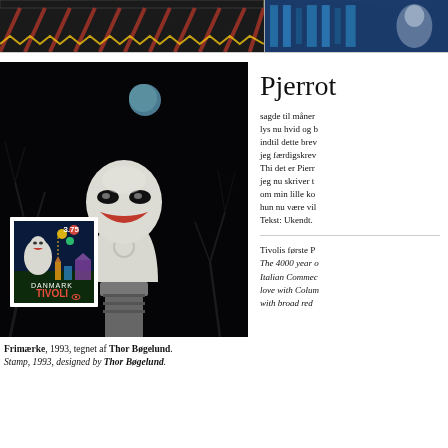[Figure (photo): Top strip showing two partial images: left half shows decorative striped awning/tent in dark background, right half shows blue architectural detail]
[Figure (photo): Night photograph of a white Pierrot/clown bust sculpture on a decorative column, with a blue moon in the dark background and bare winter trees. A postage stamp overlay shows 'DANMARK TIVOLI 3.75' stamp designed by Thor Bøgelund.]
Frimærke, 1993, tegnet af Thor Bøgelund.
Stamp, 1993, designed by Thor Bøgelund.
Pjerrot
sagde til måner
lys nu hvid og b
indtil dette brev
jeg færdigskrev
Thi det er Pierr
jeg nu skriver t
om min lille ko
hun nu være vil
Tekst: Ukendt.
Tivolis første P
The 4000 year o
Italian Commec
love with Colum
with broad red